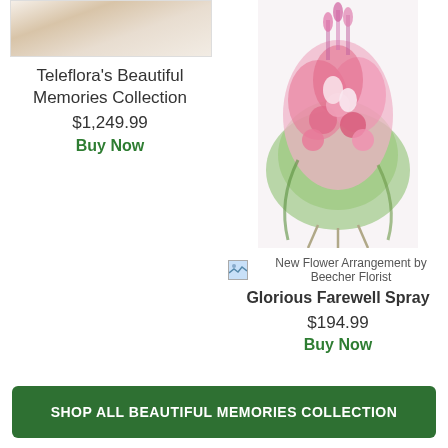[Figure (photo): Partial view of a floral arrangement in a room setting, cropped at top]
Teleflora's Beautiful Memories Collection
$1,249.99
Buy Now
[Figure (photo): Pink flower spray arrangement on a stand with pink roses, lilies, and greenery]
[Figure (photo): Broken image icon for New Flower Arrangement by Beecher Florist]
New Flower Arrangement by Beecher Florist
Glorious Farewell Spray
$194.99
Buy Now
SHOP ALL BEAUTIFUL MEMORIES COLLECTION